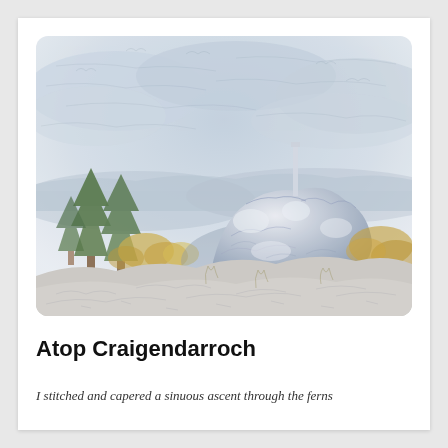[Figure (illustration): A watercolor and pencil sketch illustration of the rocky summit of Craigendarroch hill. The scene shows large rounded granite boulders in the foreground and center, with a tall thin marker or trig point on top. Green pine trees are visible on the left side, with autumn-colored foliage. In the background are rolling hills and a wide landscape. The sky is painted in soft grey-blue watercolor with pencil line textures. The overall style blends watercolor washes with pencil sketch lines, giving a soft artistic effect.]
Atop Craigendarroch
I stitched and capered a sinuous ascent through the ferns